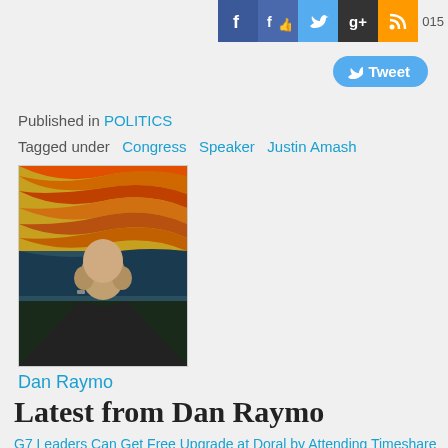[Figure (screenshot): Social media icon buttons: Facebook, Facebook Like, Twitter, Google+, RSS, and number 015 partially visible]
[Figure (screenshot): Twitter Tweet button in blue with bird icon]
Published in POLITICS
Tagged under  Congress  Speaker  Justin Amash
[Figure (photo): Author photo of Dan Raymo posed in front of 'The Scream' painting background]
Dan Raymo
Latest from Dan Raymo
G7 Leaders Can Get Free Upgrade at Doral by Attending Timeshare Presentation